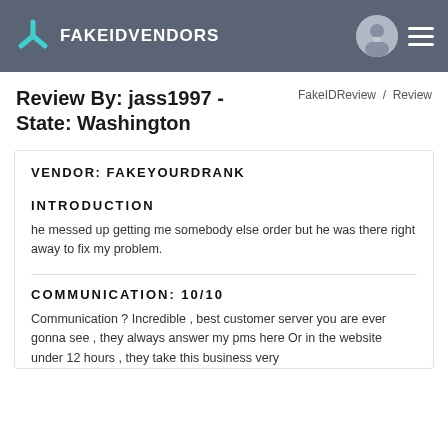FAKEIDVENDORS
Review By: jass1997 - State: Washington
FakeIDReview / Review
VENDOR: FAKEYOURDRANK
INTRODUCTION
he messed up getting me somebody else order but he was there right away to fix my problem.
COMMUNICATION: 10/10
Communication ? Incredible , best customer server you are ever gonna see , they always answer my pms here Or in the website under 12 hours , they take this business very